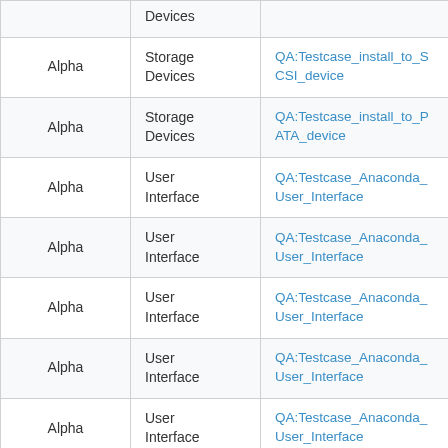|  | Devices |  |
| --- | --- | --- |
| Alpha | Storage
Devices | QA:Testcase_install_to_SCSI_device |
| Alpha | Storage
Devices | QA:Testcase_install_to_PATA_device |
| Alpha | User
Interface | QA:Testcase_Anaconda_User_Interface |
| Alpha | User
Interface | QA:Testcase_Anaconda_User_Interface |
| Alpha | User
Interface | QA:Testcase_Anaconda_User_Interface |
| Alpha | User
Interface | QA:Testcase_Anaconda_User_Interface |
| Alpha | User
Interface | QA:Testcase_Anaconda_User_Interface |
| Beta | Boot
Methods | QA/TestCases/BootMethodsCdrom |